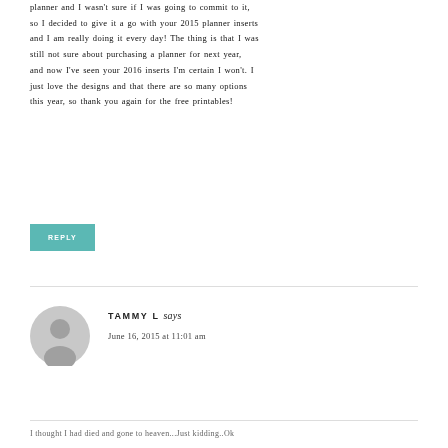planner and I wasn't sure if I was going to commit to it, so I decided to give it a go with your 2015 planner inserts and I am really doing it every day! The thing is that I was still not sure about purchasing a planner for next year, and now I've seen your 2016 inserts I'm certain I won't. I just love the designs and that there are so many options this year, so thank you again for the free printables!
REPLY
TAMMY L says
June 16, 2015 at 11:01 am
I thought I had died and gone to heaven...Just kidding..Ok